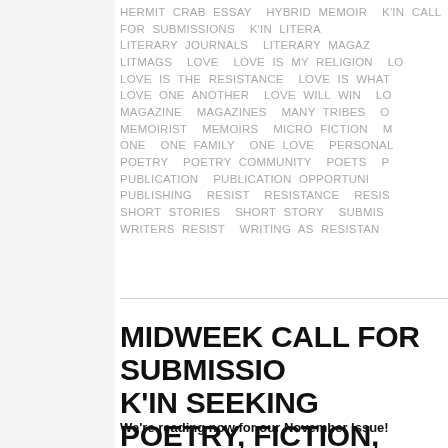HERMIT CRAB ESSAY HYBRID MEMOIR K'IN CALL FOR SUBMISSIONS K'IN LITERARY JOURNALS LITERARY MAGAZINE LITMAGS LOVE LOVE IS MY RELIGION LOVE IS THE RESISTANCE LOVE IS WHAT LOVE ONE ANOTHER LOVE WILL WIN MAGAZINE MAGAZINES MANY TRIBES MEMOIRIST MEMOIRS MICRO FICTION ONE ONE FAMILY ONE LOVE PERSONAL POETRY POETRY COMMUNITY POETS PUBLICATION PUBLICATION OPPORTUNITY PUBLISHING RESIST RESISTANCE SHORT STORIES SHORT STORY SUBMISSION WRITERS RESIST WRITING AS RESISTANCE
MIDWEEK CALL FOR SUBMISSIONS: K'IN SEEKING POETRY, FICTION, NONFICTION, YOUNG WRITERS FOR NOVEMBER ISSUE
We're reading now for our November Issue!